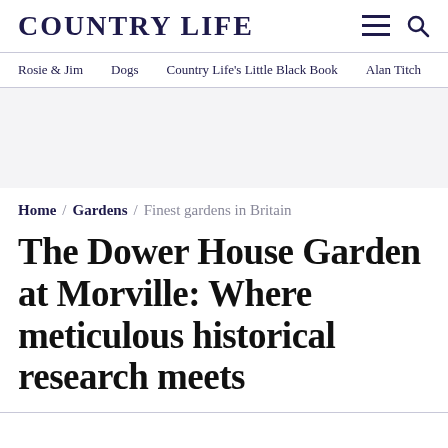COUNTRY LIFE
Rosie & Jim  Dogs  Country Life's Little Black Book  Alan Titch
[Figure (other): Grey advertisement/banner placeholder area]
Home / Gardens / Finest gardens in Britain
The Dower House Garden at Morville: Where meticulous historical research meets